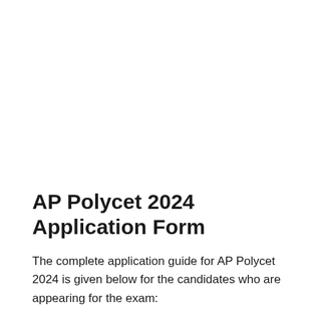AP Polycet 2024 Application Form
The complete application guide for AP Polycet 2024 is given below for the candidates who are appearing for the exam:
Applicants for AP Polycet 2024 need to duly fill up